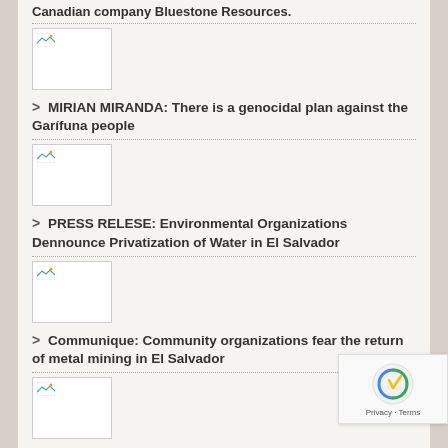Canadian company Bluestone Resources.
[Figure (photo): Thumbnail image placeholder with broken image icon]
> MIRIAN MIRANDA: There is a genocidal plan against the Garífuna people
[Figure (photo): Thumbnail image placeholder with broken image icon]
> PRESS RELESE: Environmental Organizations Dennounce Privatization of Water in El Salvador
[Figure (photo): Thumbnail image placeholder with broken image icon]
> Communique: Community organizations fear the return of metal mining in El Salvador
[Figure (photo): Thumbnail image placeholder with broken image icon]